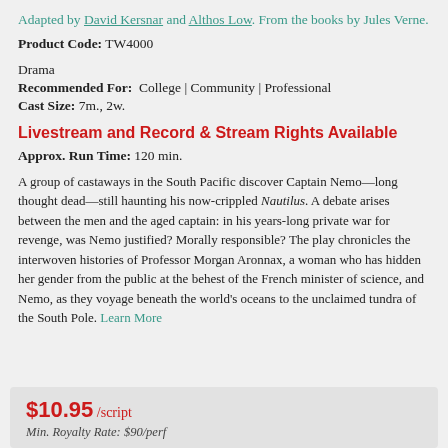Adapted by David Kersnar and Althos Low. From the books by Jules Verne.
Product Code: TW4000
Drama
Recommended For: College | Community | Professional
Cast Size: 7m., 2w.
Livestream and Record & Stream Rights Available
Approx. Run Time: 120 min.
A group of castaways in the South Pacific discover Captain Nemo—long thought dead—still haunting his now-crippled Nautilus. A debate arises between the men and the aged captain: in his years-long private war for revenge, was Nemo justified? Morally responsible? The play chronicles the interwoven histories of Professor Morgan Aronnax, a woman who has hidden her gender from the public at the behest of the French minister of science, and Nemo, as they voyage beneath the world's oceans to the unclaimed tundra of the South Pole. Learn More
$10.95 /script
Min. Royalty Rate: $90/perf